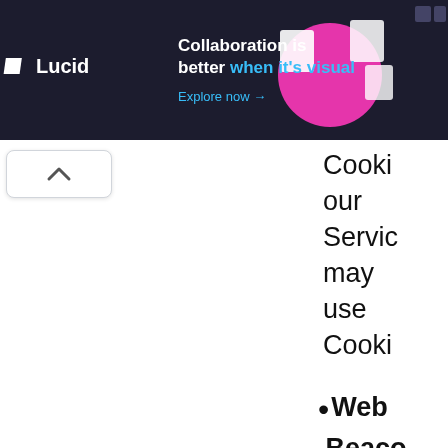[Figure (screenshot): Lucid advertisement banner with dark background. Left side shows Lucid logo in white. Center shows a woman with pink circle graphic and floating document icons. Right side shows text: 'Collaboration is better when it's visual' with 'Explore now →' link in blue. Top right corner has small icon buttons.]
Cooki our Servic may use Cooki
Web Beaco Certai sectio of our Servic and our emails